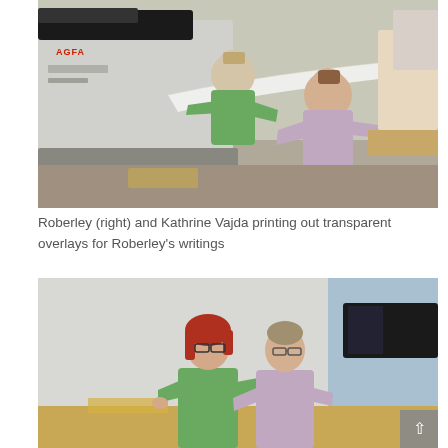[Figure (photo): Two women in a print lab or studio handling a large sheet of paper/transparent overlay being fed through or coming out of a large-format AGFA printer/plotter machine. One woman wears a green polo shirt, the other a lavender/mauve top. Various equipment and wooden furniture visible in the background.]
Roberley (right) and Kathrine Vajda printing out transparent overlays for Roberley's writings
[Figure (photo): Two women standing at a table or workspace. The woman on the left has red hair, wears glasses and a green polo shirt. The woman on the right has lighter hair pulled back, wears glasses and a lavender top. Computer monitors visible in the background. They appear to be examining or working on something on the table.]